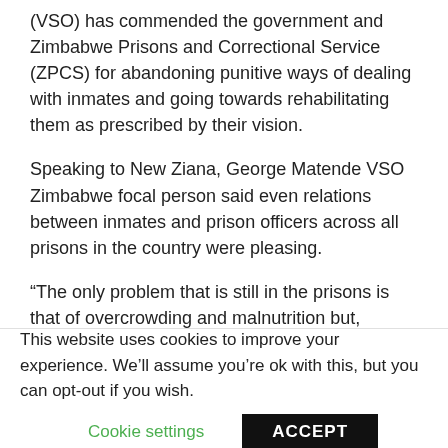(VSO) has commended the government and Zimbabwe Prisons and Correctional Service (ZPCS) for abandoning punitive ways of dealing with inmates and going towards rehabilitating them as prescribed by their vision.
Speaking to New Ziana, George Matende VSO Zimbabwe focal person said even relations between inmates and prison officers across all prisons in the country were pleasing.
“The only problem that is still in the prisons is that of overcrowding and malnutrition but, abuse, no.
“Prison officers and inmates actually now co-exist, we are very happy with that, but we are we are however
This website uses cookies to improve your experience. We’ll assume you’re ok with this, but you can opt-out if you wish.